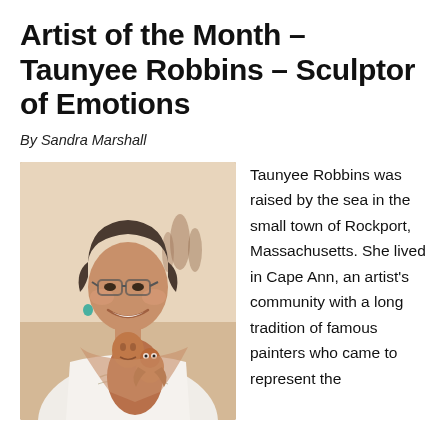Artist of the Month – Taunyee Robbins – Sculptor of Emotions
By Sandra Marshall
[Figure (photo): A woman with short grey-brown hair and glasses smiles warmly while holding a terracotta sculpture of a human figure with an owl perched on it. Blurred sculptural figures are visible in the background.]
Taunyee Robbins was raised by the sea in the small town of Rockport, Massachusetts. She lived in Cape Ann, an artist's community with a long tradition of famous painters who came to represent the